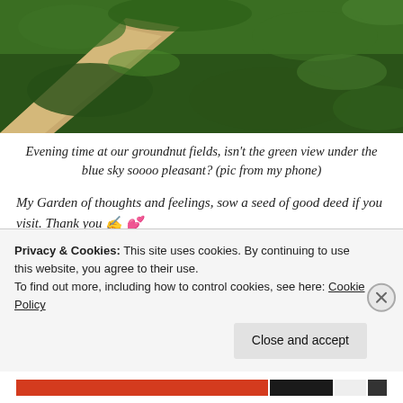[Figure (photo): Aerial/ground-level photo of green groundnut fields with a sandy path, taken in evening light.]
Evening time at our groundnut fields, isn't the green view under the blue sky soooo pleasant? (pic from my phone)
My Garden of thoughts and feelings, sow a seed of good deed if you visit. Thank you ✍️ 💕
Sponsored Content
[Figure (photo): Photo of a woman with dark hair, partially visible, indoors with a lamp in background.]
Privacy & Cookies: This site uses cookies. By continuing to use this website, you agree to their use.
To find out more, including how to control cookies, see here: Cookie Policy